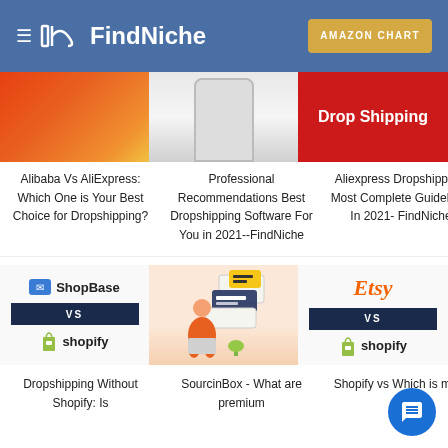FindNiche — AMAZON CHART
[Figure (photo): Red/orange gradient image thumbnail for Alibaba vs AliExpress article]
Alibaba Vs AliExpress: Which One is Your Best Choice for Dropshipping?
[Figure (photo): Phone/device image thumbnail for Professional Recommendations article]
Professional Recommendations Best Dropshipping Software For You in 2021--FindNiche
[Figure (photo): Red background with Drop Shipping text label for Aliexpress Dropshipping article]
Aliexpress Dropshipping: Most Complete Guidelines In 2021- FindNiche
[Figure (photo): ShopBase vs Shopify logos thumbnail for Dropshipping Without Shopify article]
Dropshipping Without Shopify: Is
[Figure (photo): Illustration of person with chat boxes for SourcinBox article]
SourcinBox - What are premium
[Figure (photo): Etsy vs Shopify logos thumbnail for Shopify vs article]
Shopify vs Which is more